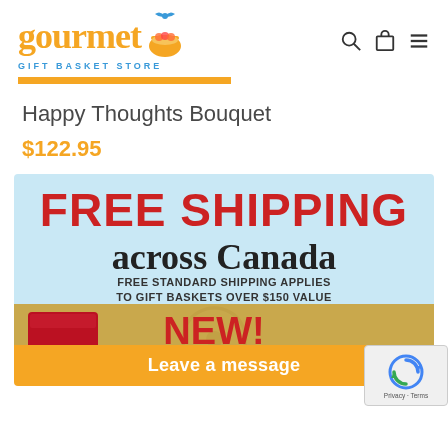gourmet GIFT BASKET STORE
Happy Thoughts Bouquet
$122.95
[Figure (infographic): Free Shipping across Canada banner — light blue top section with red FREE SHIPPING text, black serif across Canada text, and subtext FREE STANDARD SHIPPING APPLIES TO GIFT BASKETS OVER $150 VALUE. Bottom gold section showing LCBO card and NEW! ADD LCBO text. Orange Leave a message bar at the bottom.]